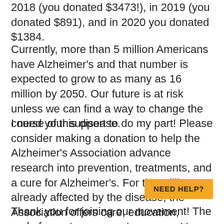2018 (you donated $3473!), in 2019 (you donated $891), and in 2020 you donated $1384.
Currently, more than 5 million Americans have Alzheimer's and that number is expected to grow to as many as 16 million by 2050. Our future is at risk unless we can find a way to change the course of this disease.
I need your support to do my part! Please consider making a donation to help the Alzheimer's Association advance research into prevention, treatments, and a cure for Alzheimer's. For the millions already affected by the disease, the Association offers care, education, support, and resources in communities nationwide.
NEED HELP?
Thank you for joining our movement! The end of